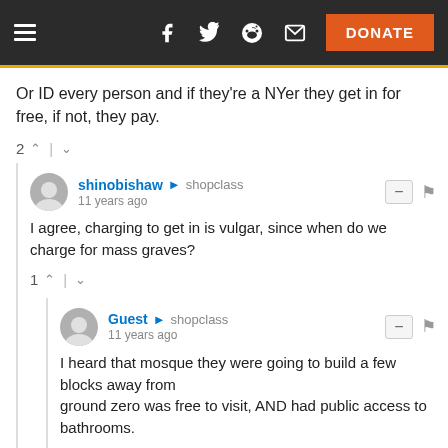Navigation bar with hamburger menu, social icons (Facebook, Twitter, Reddit, Email), and DONATE button
Or ID every person and if they're a NYer they get in for free, if not, they pay.
2 ^ | v
shinobishaw → shopclass
11 years ago
I agree, charging to get in is vulgar, since when do we charge for mass graves?
1 ^ | v
Guest → shopclass
11 years ago
I heard that mosque they were going to build a few blocks away from
ground zero was free to visit, AND had public access to bathrooms.
2 ^ | v